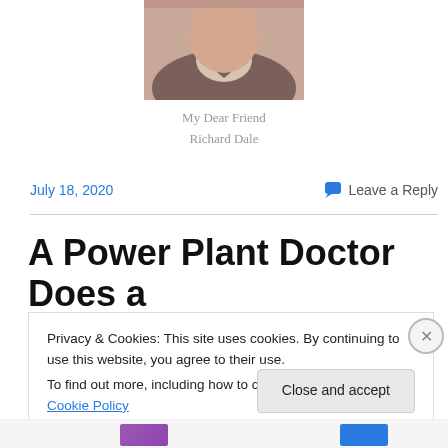[Figure (photo): Cropped photo of a man wearing a grey/brown V-neck sweater over a collared shirt, partially visible from chest up]
My Dear Friend
Richard Dale
July 18, 2020
💬 Leave a Reply
A Power Plant Doctor Does a
Privacy & Cookies: This site uses cookies. By continuing to use this website, you agree to their use.
To find out more, including how to control cookies, see here: Cookie Policy
Close and accept